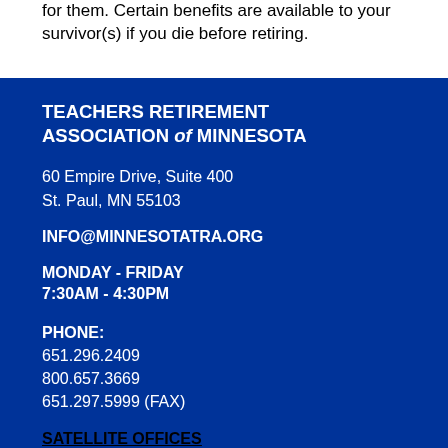for them. Certain benefits are available to your survivor(s) if you die before retiring.
TEACHERS RETIREMENT ASSOCIATION of MINNESOTA
60 Empire Drive, Suite 400
St. Paul, MN 55103
INFO@MINNESOTATRA.ORG
MONDAY - FRIDAY
7:30AM - 4:30PM
PHONE:
651.296.2409
800.657.3669
651.297.5999 (FAX)
SATELLITE OFFICES
Duluth
Mankato
St. Cloud